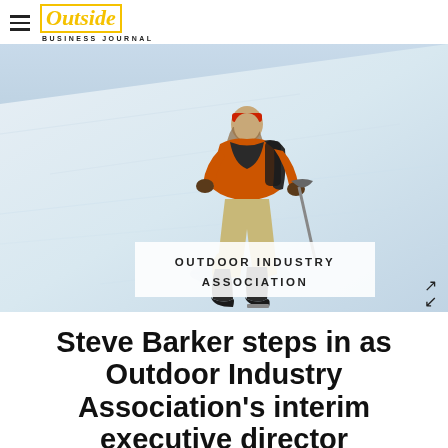Outside Business Journal
[Figure (photo): A mountaineer/climber wearing a red headband, orange and dark jacket, tan pants, and dark boots, climbing a snowy slope while holding an ice axe. The person has long hair and is carrying a backpack. The background is a snow-covered mountain slope with bright sunlight. An overlay label reads 'OUTDOOR INDUSTRY ASSOCIATION' in a white semi-transparent box.]
Steve Barker steps in as Outdoor Industry Association's interim executive director